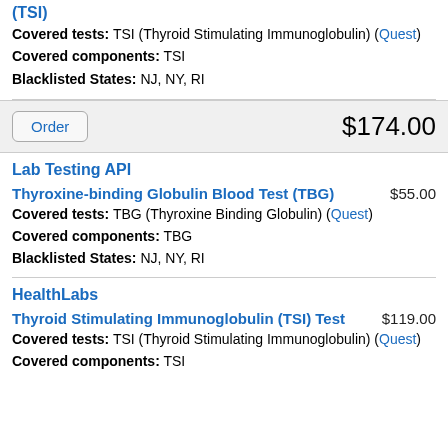Thyroid Stimulating Immunoglobulin Blood Test (TSI) [continued top]
Covered tests: TSI (Thyroid Stimulating Immunoglobulin) (Quest)
Covered components: TSI
Blacklisted States: NJ, NY, RI
Order  $174.00
Lab Testing API
Thyroxine-binding Globulin Blood Test (TBG)  $55.00
Covered tests: TBG (Thyroxine Binding Globulin) (Quest)
Covered components: TBG
Blacklisted States: NJ, NY, RI
HealthLabs
Thyroid Stimulating Immunoglobulin (TSI) Test  $119.00
Covered tests: TSI (Thyroid Stimulating Immunoglobulin) (Quest)
Covered components: TSI